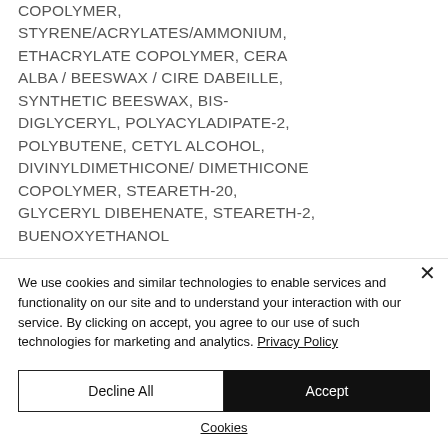COPOLYMER, STYRENE/ACRYLATES/AMMONIUM, ETHACRYLATE COPOLYMER, CERA ALBA / BEESWAX / CIRE DABEILLE, SYNTHETIC BEESWAX, BIS-DIGLYCERYL, POLYACYLADIPATE-2, POLYBUTENE, CETYL ALCOHOL, DIVINYLDIMETHICONE/ DIMETHICONE COPOLYMER, STEARETH-20, GLYCERYL DIBEHENATE, STEARETH-2, BUENOXYETHANOL
We use cookies and similar technologies to enable services and functionality on our site and to understand your interaction with our service. By clicking on accept, you agree to our use of such technologies for marketing and analytics. Privacy Policy
Decline All
Accept
Cookies